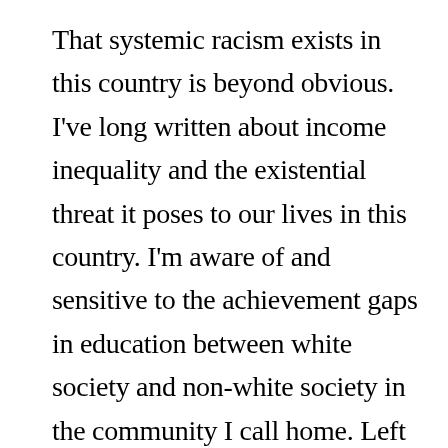That systemic racism exists in this country is beyond obvious. I've long written about income inequality and the existential threat it poses to our lives in this country. I'm aware of and sensitive to the achievement gaps in education between white society and non-white society in the community I call home. Left unattended, it will eventually result in economic chaos.

I'm unsure what I can do to promote a 'healing' of what is clearly a fundamental disparity among those of us who claim citizenship in this country. I can support the NBA 'strike'. I can write and publish in the